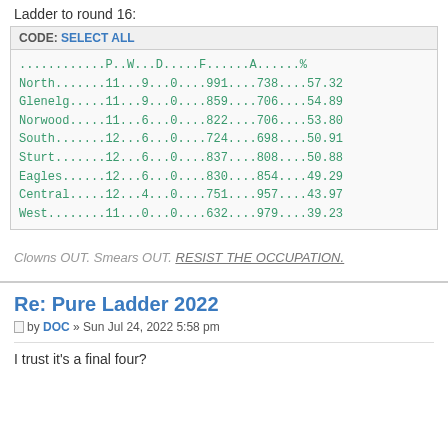Ladder to round 16:
|  | P | W | D | F | A | % |
| --- | --- | --- | --- | --- | --- | --- |
| North | 11 | 9 | 0 | 991 | 738 | 57.32 |
| Glenelg | 11 | 9 | 0 | 859 | 706 | 54.89 |
| Norwood | 11 | 6 | 0 | 822 | 706 | 53.80 |
| South | 12 | 6 | 0 | 724 | 698 | 50.91 |
| Sturt | 12 | 6 | 0 | 837 | 808 | 50.88 |
| Eagles | 12 | 6 | 0 | 830 | 854 | 49.29 |
| Central | 12 | 4 | 0 | 751 | 957 | 43.97 |
| West | 11 | 0 | 0 | 632 | 979 | 39.23 |
Clowns OUT. Smears OUT. RESIST THE OCCUPATION.
Re: Pure Ladder 2022
by DOC » Sun Jul 24, 2022 5:58 pm
I trust it's a final four?